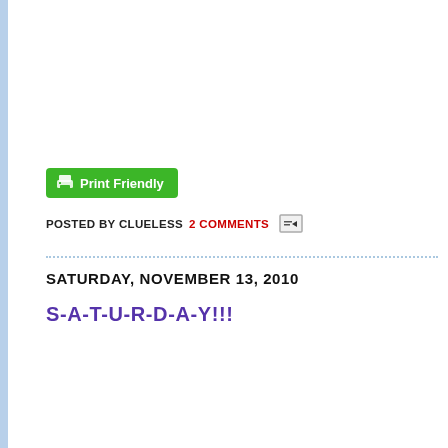[Figure (other): Green Print Friendly button with printer icon]
POSTED BY CLUELESS  2 COMMENTS  [email icon]
SATURDAY, NOVEMBER 13, 2010
S-A-T-U-R-D-A-Y!!!